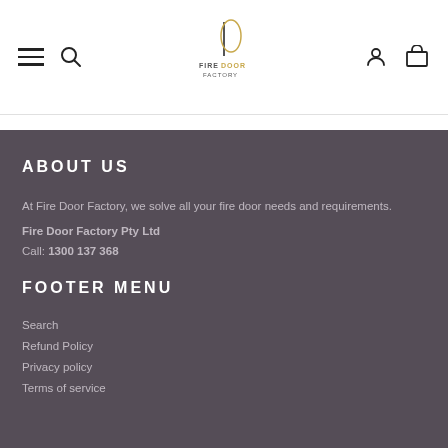Fire Door Factory - navigation header with hamburger menu, search, logo, account and cart icons
ABOUT US
At Fire Door Factory, we solve all your fire door needs and requirements.
Fire Door Factory Pty Ltd
Call: 1300 137 368
FOOTER MENU
Search
Refund Policy
Privacy policy
Terms of service